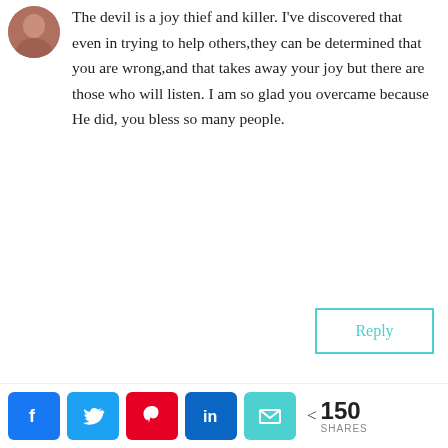[Figure (photo): Small circular avatar photo of a person]
The devil is a joy thief and killer. I've discovered that even in trying to help others,they can be determined that you are wrong,and that takes away your joy but there are those who will listen. I am so glad you overcame because He did, you bless so many people.
Reply
[Figure (logo): Master's Hand Collection hand logo in teal/cyan]
Connie from Master's Hand Collection on November 1, 2017 at 1:00 PM
There is so much wonderful truth in this post! I too have suffered form depression on
[Figure (infographic): Social share bar with Facebook, Twitter, Pinterest, LinkedIn, Email buttons and 150 SHARES count]